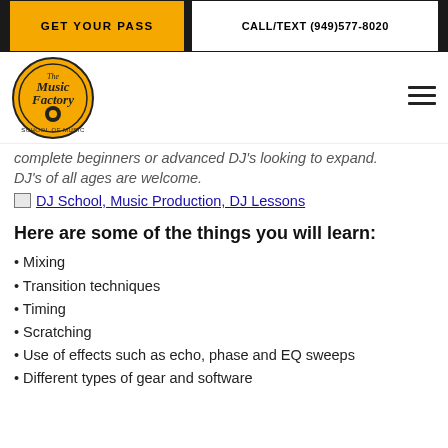GET YOUR PASS | CALL/TEXT (949)577-8020
[Figure (logo): The Music Factory School of Music circular logo in gold and black]
complete beginners or advanced DJ's looking to expand. DJ's of all ages are welcome.
[Figure (illustration): Image link: DJ School, Music Production, DJ Lessons]
Here are some of the things you will learn:
Mixing
Transition techniques
Timing
Scratching
Use of effects such as echo, phase and EQ sweeps
Different types of gear and software